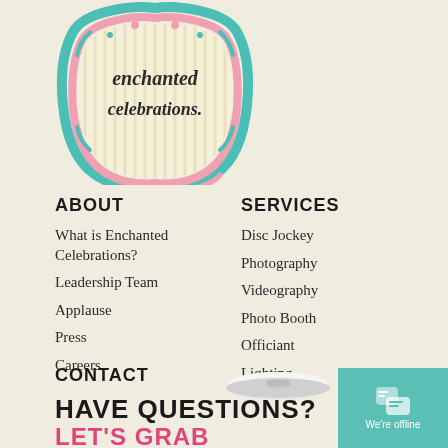[Figure (logo): Enchanted Celebrations logo - decorative badge shape with pink and teal border, striped background, text 'enchanted celebrations.' in script font]
ABOUT
What is Enchanted Celebrations?
Leadership Team
Applause
Press
Careers
SERVICES
Disc Jockey
Photography
Videography
Photo Booth
Officiant
Lighting
CONTACT
HAVE QUESTIONS?
LET'S GRAB COFFEE!
[Figure (screenshot): Chat widget showing 'We're offline' message with teal background]
[Figure (photo): Coffee cup top-down view, white lid]